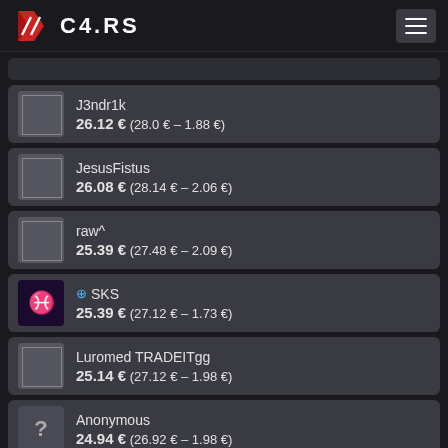C4.RS
J3ndr1k
26.12 € (28.0 € – 1.88 €)
JesusFistus
26.08 € (28.14 € – 2.06 €)
raw^
25.39 € (27.48 € – 2.09 €)
⊕ SKS
25.39 € (27.12 € – 1.73 €)
Luromed TRADEITgg
25.14 € (27.12 € – 1.98 €)
Anonymous
24.94 € (26.92 € – 1.98 €)
daddy fatcock
24.57 € (26.24 € – 1.67 €)